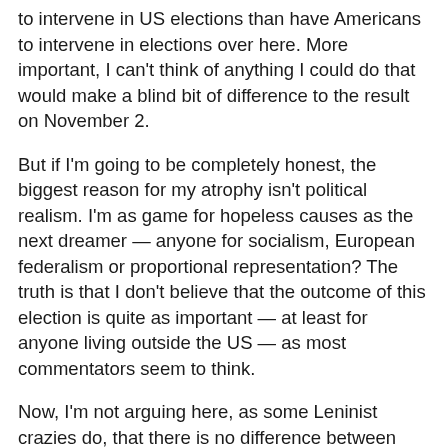to intervene in US elections than have Americans to intervene in elections over here. More important, I can't think of anything I could do that would make a blind bit of difference to the result on November 2.
But if I'm going to be completely honest, the biggest reason for my atrophy isn't political realism. I'm as game for hopeless causes as the next dreamer — anyone for socialism, European federalism or proportional representation? The truth is that I don't believe that the outcome of this election is quite as important — at least for anyone living outside the US — as most commentators seem to think.
Now, I'm not arguing here, as some Leninist crazies do, that there is no difference between Bush and Kerry because they're both capitalist imperialists. There is a gulf between them on domestic policy — on healthcare, on education, on workers' rights, on pensions, on taxation. And there are at least grounds for believing that a Kerry White House would be rather more Realpolitik-oriented than a Bush White House — less adventurist and more enthusiastic about working through international...